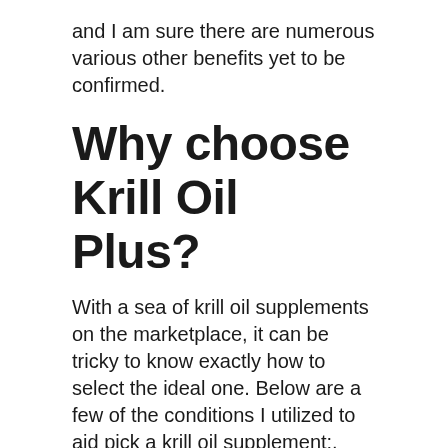and I am sure there are numerous various other benefits yet to be confirmed.
Why choose Krill Oil Plus?
With a sea of krill oil supplements on the marketplace, it can be tricky to know exactly how to select the ideal one. Below are a few of the conditions I utilized to aid pick a krill oil supplement:.
Sustainability.
The world is a minimal source and it is something most of us have an obligation to think about, at least from our own benefit.